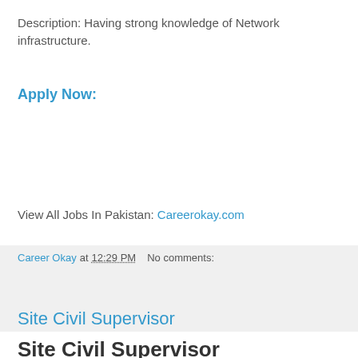Description: Having strong knowledge of Network infrastructure.
Apply Now:
View All Jobs In Pakistan: Careerokay.com
Career Okay at 12:29 PM   No comments:
Share
Site Civil Supervisor
Site Civil Supervisor